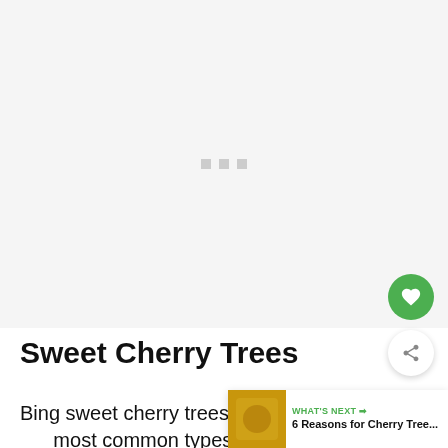[Figure (photo): Image placeholder with light gray background and three small gray loading dots centered]
Sweet Cherry Trees
Bing sweet cherry trees are among the most common types of cherry trees that